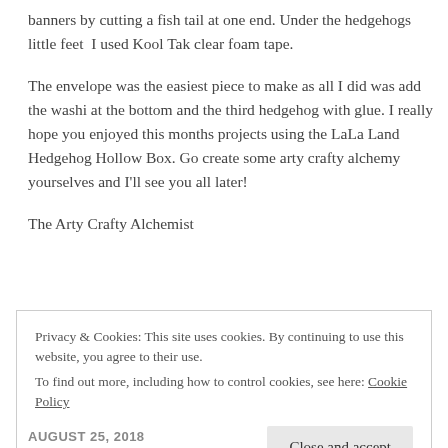banners by cutting a fish tail at one end. Under the hedgehogs little feet  I used Kool Tak clear foam tape.
The envelope was the easiest piece to make as all I did was add the washi at the bottom and the third hedgehog with glue. I really hope you enjoyed this months projects using the LaLa Land Hedgehog Hollow Box. Go create some arty crafty alchemy yourselves and I'll see you all later!
The Arty Crafty Alchemist
Privacy & Cookies: This site uses cookies. By continuing to use this website, you agree to their use.
To find out more, including how to control cookies, see here: Cookie Policy
Close and accept
August 25, 2018